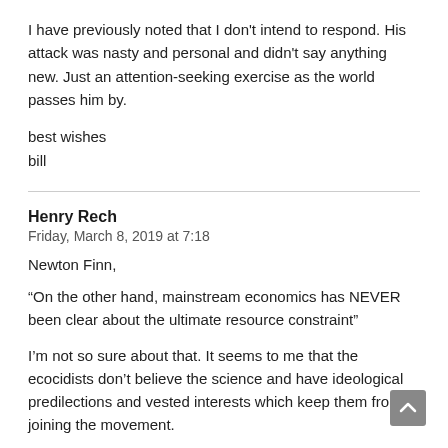I have previously noted that I don't intend to respond. His attack was nasty and personal and didn't say anything new. Just an attention-seeking exercise as the world passes him by.
best wishes
bill
Henry Rech
Friday, March 8, 2019 at 7:18
Newton Finn,
“On the other hand, mainstream economics has NEVER been clear about the ultimate resource constraint”
I’m not so sure about that. It seems to me that the ecocidists don’t believe the science and have ideological predilections and vested interests which keep them from joining the movement.